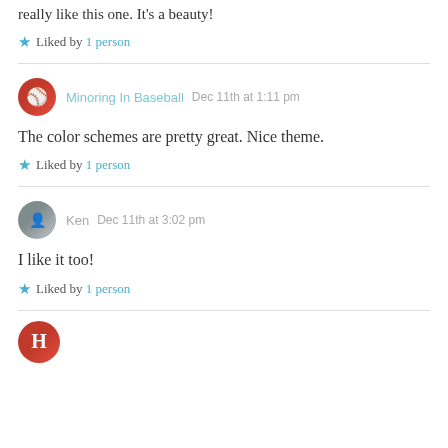really like this one. It's a beauty!
Liked by 1 person
Minoring In Baseball   Dec 11th at 1:11 pm
The color schemes are pretty great. Nice theme.
Liked by 1 person
Ken   Dec 11th at 3:02 pm
I like it too!
Liked by 1 person